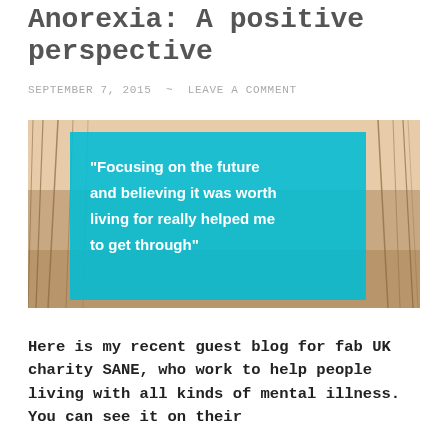Anorexia: A positive perspective
SEPTEMBER 7, 2015 ~ LEAVE A COMMENT
[Figure (photo): Sepia-toned nature photo of reeds by water with a teal/cyan overlay box containing a quote: "Focusing on the future and believing it was worth living for really helped me to get through"]
Here is my recent guest blog for fab UK charity SANE, who work to help people living with all kinds of mental illness. You can see it on their